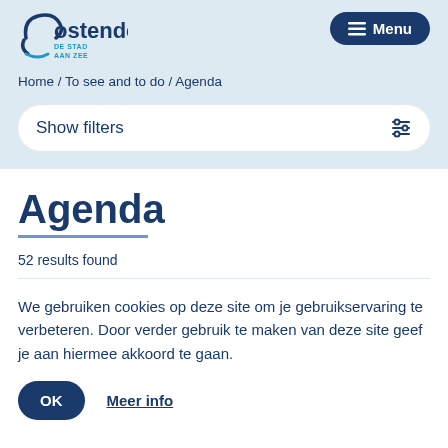[Figure (logo): Ostende city logo with text 'Oostende DE STAD AAN ZEE']
Menu
Home / To see and to do / Agenda
Show filters
Agenda
52 results found
We gebruiken cookies op deze site om je gebruikservaring te verbeteren. Door verder gebruik te maken van deze site geef je aan hiermee akkoord te gaan.
OK
Meer info